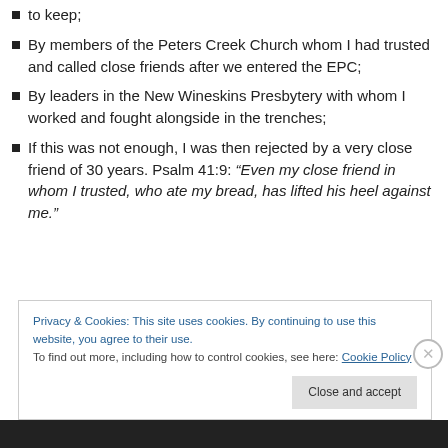to keep;
By members of the Peters Creek Church whom I had trusted and called close friends after we entered the EPC;
By leaders in the New Wineskins Presbytery with whom I worked and fought alongside in the trenches;
If this was not enough, I was then rejected by a very close friend of 30 years. Psalm 41:9: “Even my close friend in whom I trusted, who ate my bread, has lifted his heel against me.”
Privacy & Cookies: This site uses cookies. By continuing to use this website, you agree to their use.
To find out more, including how to control cookies, see here: Cookie Policy
Close and accept